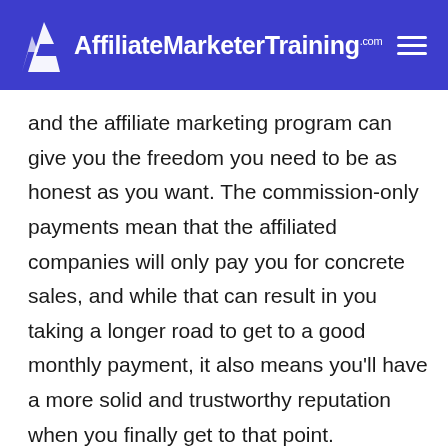AffiliateMarketerTraining.com
and the affiliate marketing program can give you the freedom you need to be as honest as you want. The commission-only payments mean that the affiliated companies will only pay you for concrete sales, and while that can result in you taking a longer road to get to a good monthly payment, it also means you’ll have a more solid and trustworthy reputation when you finally get to that point.